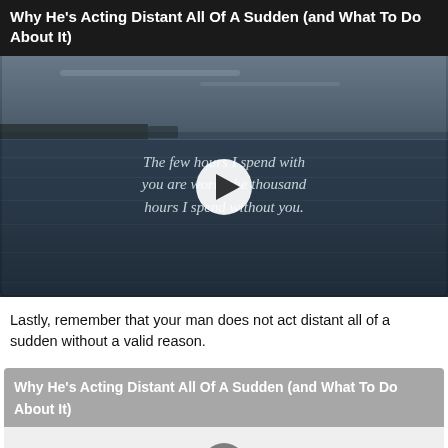Why He's Acting Distant All Of A Sudden (and What To Do About It)
[Figure (screenshot): Video thumbnail showing a waterscape with quote text overlaid: 'The few hours I spend with you are worth the thousand hours I spend without you.' with a play button in the center]
Lastly, remember that your man does not act distant all of a sudden without a valid reason.
Why He's Acting Distant All Of A Sudden (and What To Do About It)
[Figure (screenshot): Second video thumbnail with play button, white/light gray background]